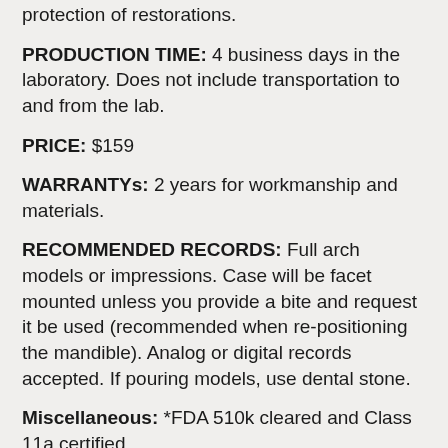…protection of restorations.
PRODUCTION TIME: 4 business days in the laboratory. Does not include transportation to and from the lab.
PRICE: $159
WARRANTYs: 2 years for workmanship and materials.
RECOMMENDED RECORDS: Full arch models or impressions. Case will be facet mounted unless you provide a bite and request it be used (recommended when re-positioning the mandible). Analog or digital records accepted. If pouring models, use dental stone.
Miscellaneous: *FDA 510k cleared and Class 11a certified
INSERTION: Soak or rinse for 1 minute in approximately 100°F water or until soft. Gently seat